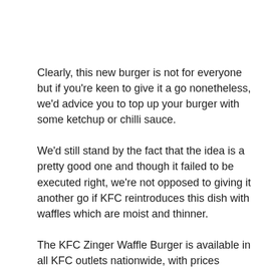Clearly, this new burger is not for everyone but if you're keen to give it a go nonetheless, we'd advice you to top up your burger with some ketchup or chilli sauce.
We'd still stand by the fact that the idea is a pretty good one and though it failed to be executed right, we're not opposed to giving it another go if KFC reintroduces this dish with waffles which are moist and thinner.
The KFC Zinger Waffle Burger is available in all KFC outlets nationwide, with prices starting from RM13.50 for à la carte options. The burger is a limited time offering and can also be purchased in a